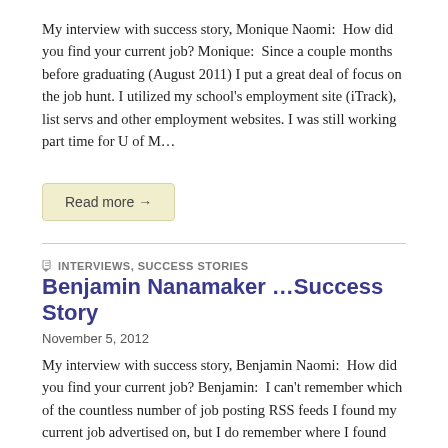My interview with success story, Monique Naomi:  How did you find your current job? Monique:  Since a couple months before graduating (August 2011) I put a great deal of focus on the job hunt. I utilized my school's employment site (iTrack), list servs and other employment websites. I was still working part time for U of M…
Read more →
INTERVIEWS, SUCCESS STORIES
Benjamin Nanamaker …Success Story
November 5, 2012
My interview with success story, Benjamin Naomi:  How did you find your current job? Benjamin:  I can't remember which of the countless number of job posting RSS feeds I found my current job advertised on, but I do remember where I found the bulk of them. Last summer, Jazmin Idakaar posted a link on her…